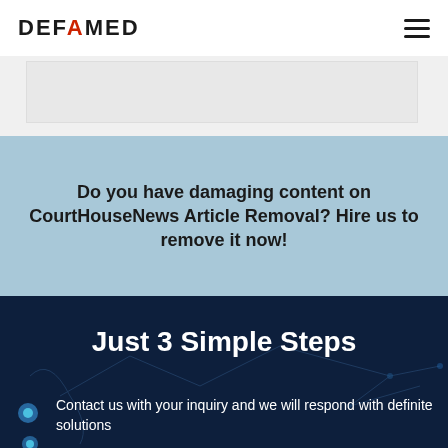[Figure (logo): DEFAMED logo with red A accent and hamburger menu icon]
[Figure (screenshot): Partial website screenshot strip showing content]
Do you have damaging content on CourtHouseNews Article Removal? Hire us to remove it now!
Just 3 Simple Steps
Contact us with your inquiry and we will respond with definite solutions